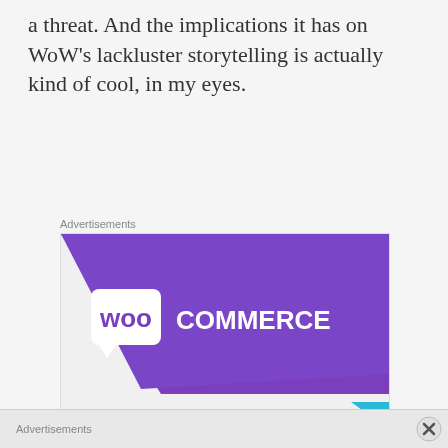a threat. And the implications it has on WoW's lackluster storytelling is actually kind of cool, in my eyes.
[Figure (screenshot): WooCommerce advertisement banner showing 'How to start selling subscriptions online' with a 'Start a new store' button. Purple diagonal banner at top with WooCommerce logo, teal triangle on lower left, light blue curved shape on lower right.]
Advertisements